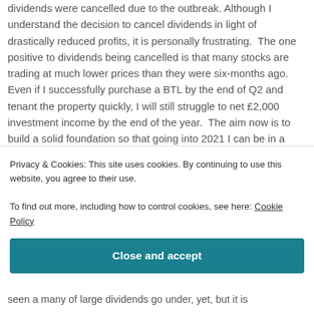dividends were cancelled due to the outbreak. Although I understand the decision to cancel dividends in light of drastically reduced profits, it is personally frustrating. The one positive to dividends being cancelled is that many stocks are trading at much lower prices than they were six-months ago. Even if I successfully purchase a BTL by the end of Q2 and tenant the property quickly, I will still struggle to net £2,000 investment income by the end of the year. The aim now is to build a solid foundation so that going into 2021 I can be in a stronger position to earn more
Privacy & Cookies: This site uses cookies. By continuing to use this website, you agree to their use.
To find out more, including how to control cookies, see here: Cookie Policy
Close and accept
seen a many of large dividends go under, yet, but it is